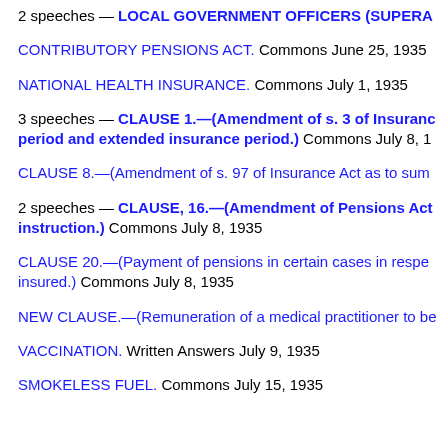2 speeches — LOCAL GOVERNMENT OFFICERS (SUPERA... Commons
CONTRIBUTORY PENSIONS ACT. Commons June 25, 1935
NATIONAL HEALTH INSURANCE. Commons July 1, 1935
3 speeches — CLAUSE 1.—(Amendment of s. 3 of Insurance... period and extended insurance period.) Commons July 8, 1...
CLAUSE 8.—(Amendment of s. 97 of Insurance Act as to sum...
2 speeches — CLAUSE, 16.—(Amendment of Pensions Act... instruction.) Commons July 8, 1935
CLAUSE 20.—(Payment of pensions in certain cases in respe... insured.) Commons July 8, 1935
NEW CLAUSE.—(Remuneration of a medical practitioner to be...
VACCINATION. Written Answers July 9, 1935
SMOKELESS FUEL. Commons July 15, 1935